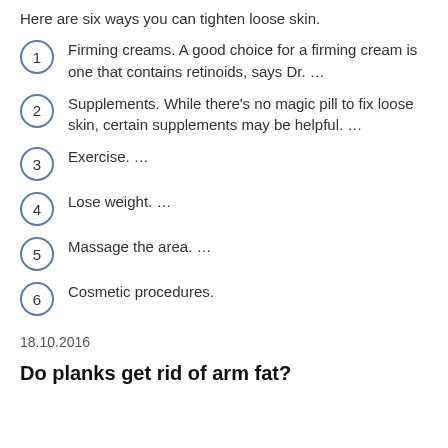Here are six ways you can tighten loose skin.
Firming creams. A good choice for a firming cream is one that contains retinoids, says Dr. …
Supplements. While there's no magic pill to fix loose skin, certain supplements may be helpful. …
Exercise. …
Lose weight. …
Massage the area. …
Cosmetic procedures.
18.10.2016
Do planks get rid of arm fat?